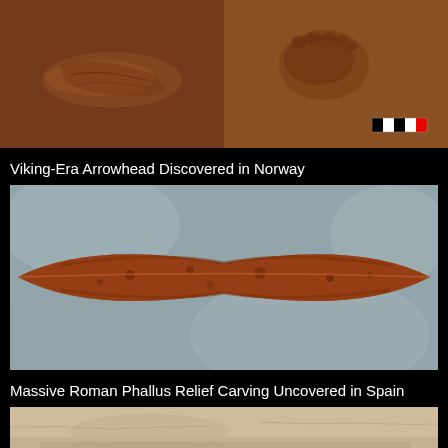[Figure (photo): Two archaeological excavation photos side by side showing footprints or impressions in sandy/clay soil. Left photo shows a close-up of an impression in reddish-brown earth. Right photo shows a similar impression with a measuring scale visible.]
Viking-Era Arrowhead Discovered in Norway
[Figure (photo): Close-up photograph of a Viking-era iron arrowhead lying on a grey stone surface. The arrowhead is elongated and leaf-shaped, heavily corroded with reddish-brown rust.]
Massive Roman Phallus Relief Carving Uncovered in Spain
[Figure (photo): Partial photograph of a stone block with a carved relief, appearing to be an archaeological find from Spain, showing pale limestone surface.]